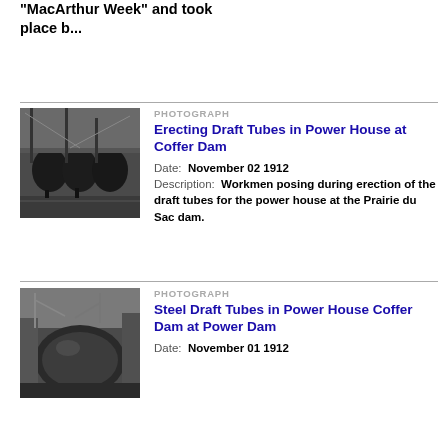"MacArthur Week" and took place b...
[Figure (photo): Black and white photograph of construction site showing draft tubes being erected in a power house at Coffer Dam]
PHOTOGRAPH
Erecting Draft Tubes in Power House at Coffer Dam
Date: November 02 1912
Description: Workmen posing during erection of the draft tubes for the power house at the Prairie du Sac dam.
[Figure (photo): Black and white photograph of steel draft tubes in power house coffer dam at power dam construction site]
PHOTOGRAPH
Steel Draft Tubes in Power House Coffer Dam at Power Dam
Date: November 01 1912